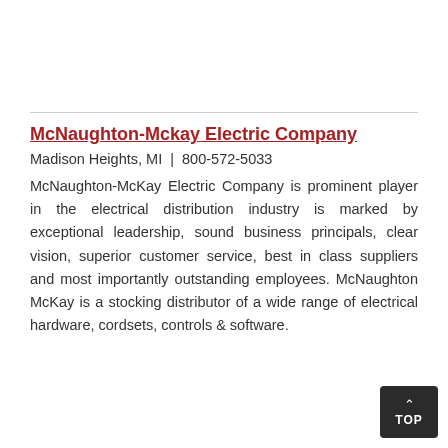McNaughton-Mckay Electric Company
Madison Heights, MI  |  800-572-5033
McNaughton-McKay Electric Company is prominent player in the electrical distribution industry is marked by exceptional leadership, sound business principals, clear vision, superior customer service, best in class suppliers and most importantly outstanding employees. McNaughton McKay is a stocking distributor of a wide range of electrical hardware, cordsets, controls & software.